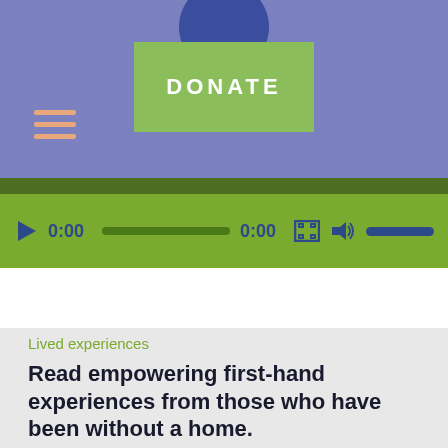[Figure (screenshot): Website header with blue-purple background showing a partially visible circular blue logo at top, a green DONATE button in the center, and a hamburger menu icon (three orange lines) on the left]
[Figure (screenshot): Video/audio player bar with green background showing play button, 0:00 time display, progress bar, 0:00 end time, fullscreen icon, volume icon, and blue volume bar]
Lived experiences
Read empowering first-hand experiences from those who have been without a home.
At the end of the day, homelessness is an inability to make rent or pay the mortgage. Do you know what it's really like to experience homelessness? Many of us have felt that fear. Learn how individuals and families in our community overcame challenges before, during, and after experiencing